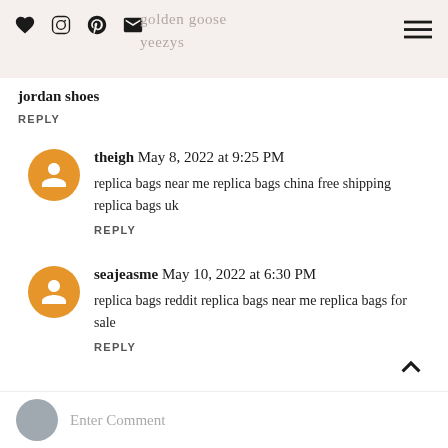golden goose yeezys
jordan shoes
REPLY
theigh May 8, 2022 at 9:25 PM
replica bags near me replica bags china free shipping replica bags uk
REPLY
seajeasme May 10, 2022 at 6:30 PM
replica bags reddit replica bags near me replica bags for sale
REPLY
Enter Comment